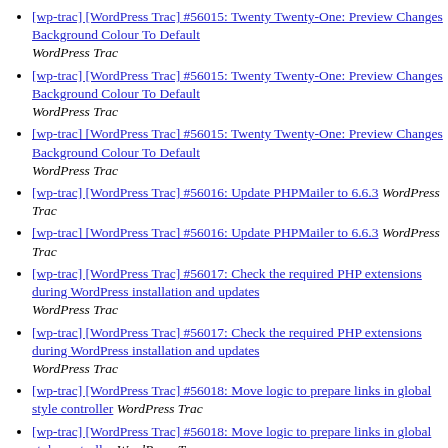[wp-trac] [WordPress Trac] #56015: Twenty Twenty-One: Preview Changes Background Colour To Default  WordPress Trac
[wp-trac] [WordPress Trac] #56015: Twenty Twenty-One: Preview Changes Background Colour To Default  WordPress Trac
[wp-trac] [WordPress Trac] #56015: Twenty Twenty-One: Preview Changes Background Colour To Default  WordPress Trac
[wp-trac] [WordPress Trac] #56016: Update PHPMailer to 6.6.3  WordPress Trac
[wp-trac] [WordPress Trac] #56016: Update PHPMailer to 6.6.3  WordPress Trac
[wp-trac] [WordPress Trac] #56017: Check the required PHP extensions during WordPress installation and updates  WordPress Trac
[wp-trac] [WordPress Trac] #56017: Check the required PHP extensions during WordPress installation and updates  WordPress Trac
[wp-trac] [WordPress Trac] #56018: Move logic to prepare links in global style controller  WordPress Trac
[wp-trac] [WordPress Trac] #56018: Move logic to prepare links in global style controller  WordPress Trac
[wp-trac] [WordPress Trac] #56019: Add prepare_links method to WP_REST_Post_Types_Controller  WordPress